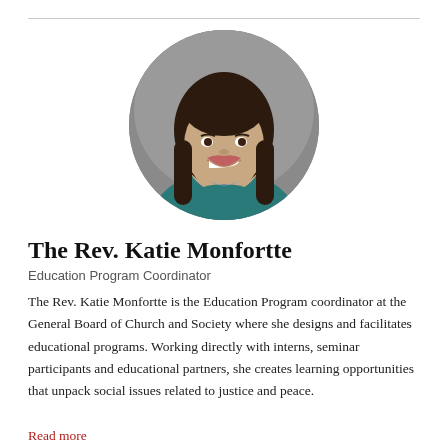[Figure (photo): Circular headshot portrait of The Rev. Katie Monfortte, a woman with long dark hair, smiling, wearing a teal top, against a grey background.]
The Rev. Katie Monfortte
Education Program Coordinator
The Rev. Katie Monfortte is the Education Program coordinator at the General Board of Church and Society where she designs and facilitates educational programs. Working directly with interns, seminar participants and educational partners, she creates learning opportunities that unpack social issues related to justice and peace.
Read more